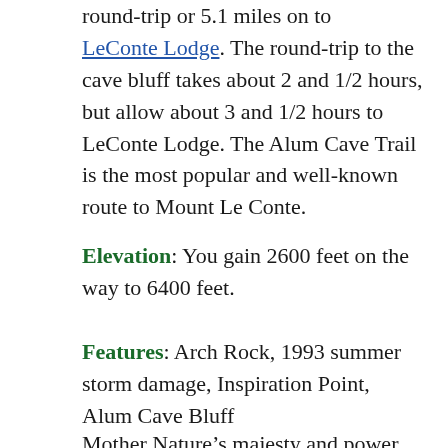round-trip or 5.1 miles on to LeConte Lodge. The round-trip to the cave bluff takes about 2 and 1/2 hours, but allow about 3 and 1/2 hours to LeConte Lodge. The Alum Cave Trail is the most popular and well-known route to Mount Le Conte.
Elevation: You gain 2600 feet on the way to 6400 feet.
Features: Arch Rock, 1993 summer storm damage, Inspiration Point, Alum Cave Bluff
Mother Nature’s majesty and power are clearly demonstrated in this 4.6 mile (round-trip) hike. The views are great, particularly if you go to LeConte Lodge and Cliff Top and the